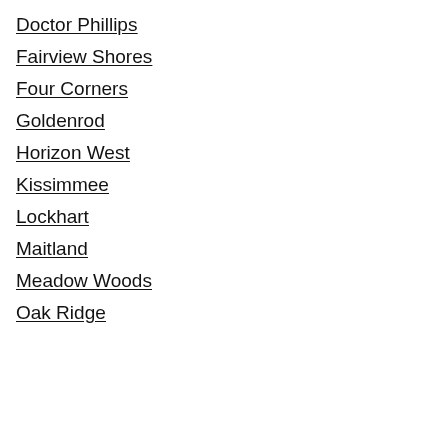Doctor Phillips
Fairview Shores
Four Corners
Goldenrod
Horizon West
Kissimmee
Lockhart
Maitland
Meadow Woods
Oak Ridge